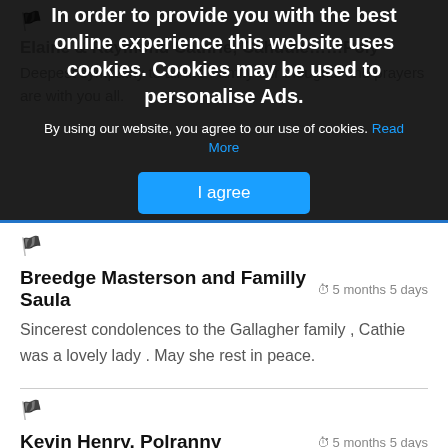In order to provide you with the best online experience this website uses cookies. Cookies may be used to personalise Ads.
By using our website, you agree to our use of cookies. Read More
I agree
[flag icon]
Breedge Masterson and Familly Saula
5 months 5 days
Sincerest condolences to the Gallagher family , Cathie was a lovely lady . May she rest in peace.
[flag icon]
Kevin Henry, Polranny
5 months 5 days